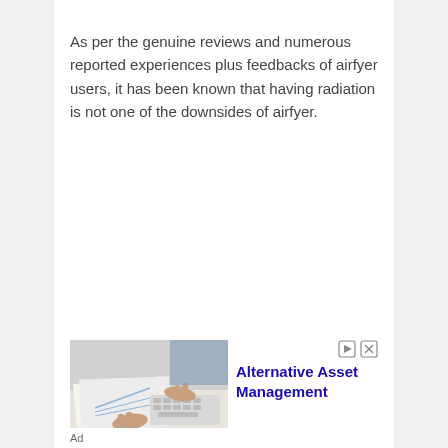As per the genuine reviews and numerous reported experiences plus feedbacks of airfyer users, it has been known that having radiation is not one of the downsides of airfyer.
[Figure (photo): Photo of hands working at a desk with papers and a keyboard, used in an advertisement for Alternative Asset Management]
Alternative Asset Management
Ad